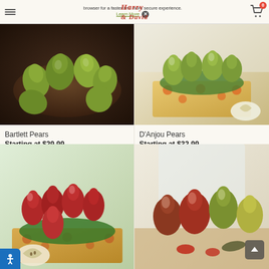browser for a faster and more secure experience. Learn More [X]
[Figure (photo): Bartlett Pears - green pears in a wooden bowl on dark background]
Bartlett Pears
Starting at $29.99
Available Now
★★★★★
[Figure (photo): D'Anjou Pears - green pears in decorative gift box with leaf garnish]
D'Anjou Pears
Starting at $32.99
Preorder for Nov
★★★★★
[Figure (photo): Red pears in a decorative gift box with green tissue paper]
[Figure (photo): Mixed pears assortment with red and green pears on wooden surface]